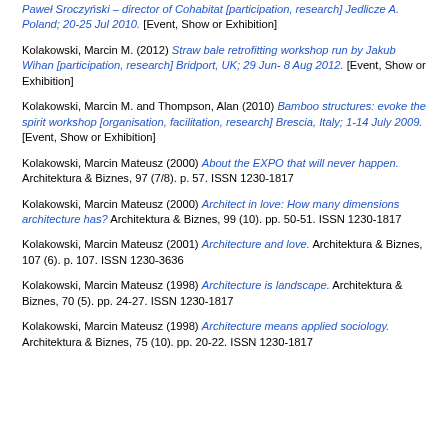Paweł Sroczyński – director of Cohabitat [participation, research] Jedlicze A. Poland; 20-25 Jul 2010. [Event, Show or Exhibition]
Kolakowski, Marcin M. (2012) Straw bale retrofitting workshop run by Jakub Wihan [participation, research] Bridport, UK; 29 Jun- 8 Aug 2012. [Event, Show or Exhibition]
Kolakowski, Marcin M. and Thompson, Alan (2010) Bamboo structures: evoke the spirit workshop [organisation, facilitation, research] Brescia, Italy; 1-14 July 2009. [Event, Show or Exhibition]
Kolakowski, Marcin Mateusz (2000) About the EXPO that will never happen. Architektura & Biznes, 97 (7/8). p. 57. ISSN 1230-1817
Kolakowski, Marcin Mateusz (2000) Architect in love: How many dimensions architecture has? Architektura & Biznes, 99 (10). pp. 50-51. ISSN 1230-1817
Kolakowski, Marcin Mateusz (2001) Architecture and love. Architektura & Biznes, 107 (6). p. 107. ISSN 1230-3636
Kolakowski, Marcin Mateusz (1998) Architecture is landscape. Architektura & Biznes, 70 (5). pp. 24-27. ISSN 1230-1817
Kolakowski, Marcin Mateusz (1998) Architecture means applied sociology. Architektura & Biznes, 75 (10). pp. 20-22. ISSN 1230-1817